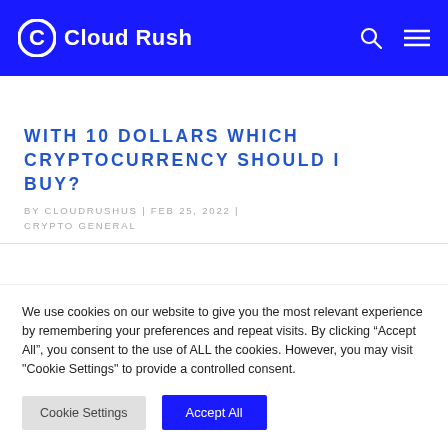Cloud Rush
WITH 10 DOLLARS WHICH CRYPTOCURRENCY SHOULD I BUY?
BY CLOUDRUSHUS | FEB 25, 2022 | CRYPTO GENERAL
We use cookies on our website to give you the most relevant experience by remembering your preferences and repeat visits. By clicking “Accept All”, you consent to the use of ALL the cookies. However, you may visit "Cookie Settings" to provide a controlled consent.